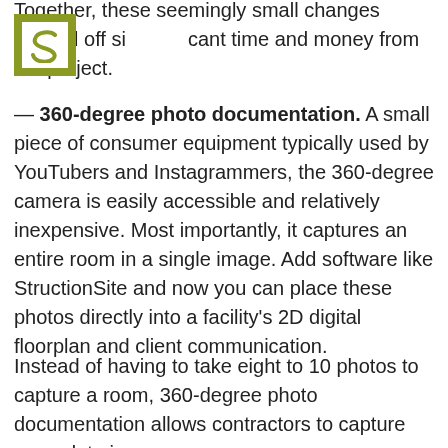Together, these seemingly small changes shaved off significant time and money from the project.
[Figure (logo): Green/olive square logo with white inner square containing stylized S letter]
— 360-degree photo documentation. A small piece of consumer equipment typically used by YouTubers and Instagrammers, the 360-degree camera is easily accessible and relatively inexpensive. Most importantly, it captures an entire room in a single image. Add software like StructionSite and now you can place these photos directly into a facility's 2D digital floorplan and client communication.
Instead of having to take eight to 10 photos to capture a room, 360-degree photo documentation allows contractors to capture more data in one